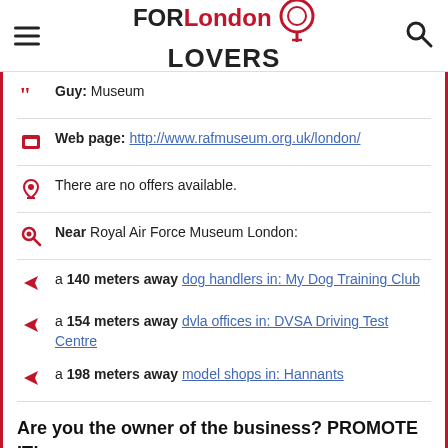FOR London LOVERS
Guy: Museum
Web page: http://www.rafmuseum.org.uk/london/
There are no offers available.
Near Royal Air Force Museum London:
a 140 meters away dog handlers in: My Dog Training Club
a 154 meters away dvla offices in: DVSA Driving Test Centre
a 198 meters away model shops in: Hannants
Are you the owner of the business? PROMOTE IT!